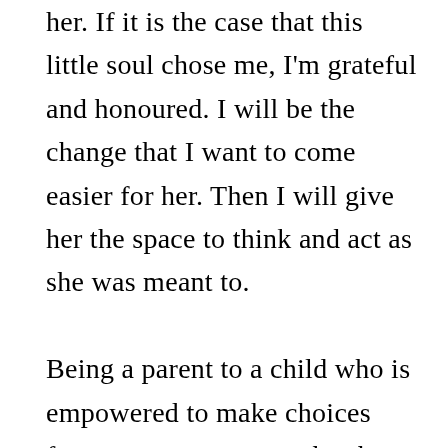her. If it is the case that this little soul chose me, I'm grateful and honoured. I will be the change that I want to come easier for her. Then I will give her the space to think and act as she was meant to.

Being a parent to a child who is empowered to make choices from a very young age has been challenging. It calls out the best in me. At times, I fall short; but in the end, I will have taught her that her thoughts and actions have greater implications than the inner circle